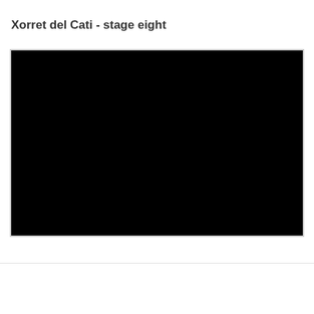Xorret del Cati - stage eight
[Figure (photo): A completely black image representing a video or photo that failed to load, associated with stage eight at Xorret del Cati.]